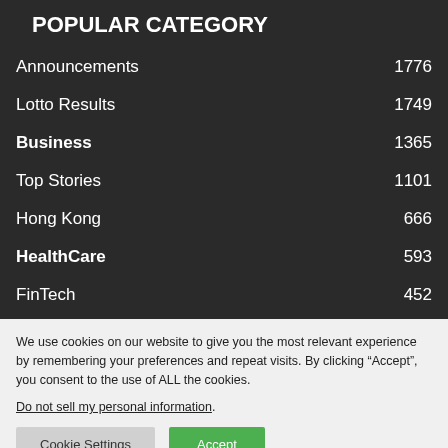POPULAR CATEGORY
Announcements 1776
Lotto Results 1749
Business 1365
Top Stories 1101
Hong Kong 666
HealthCare 593
FinTech 452
We use cookies on our website to give you the most relevant experience by remembering your preferences and repeat visits. By clicking “Accept”, you consent to the use of ALL the cookies. Do not sell my personal information.
Cookie Settings | Accept